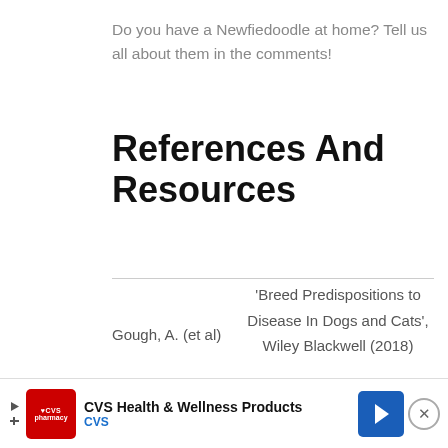Do you have a Newfiedoodle at home? Tell us all about them in the comments!
References And Resources
Gough, A. (et al)  'Breed Predispositions to Disease In Dogs and Cats', Wiley Blackwell (2018)
O'Neill (et al)  'Longevity and Mortality of Owned Dogs In England', The Veterinary Journal (2013)
[Figure (other): CVS Health & Wellness Products advertisement banner at the bottom of the page]